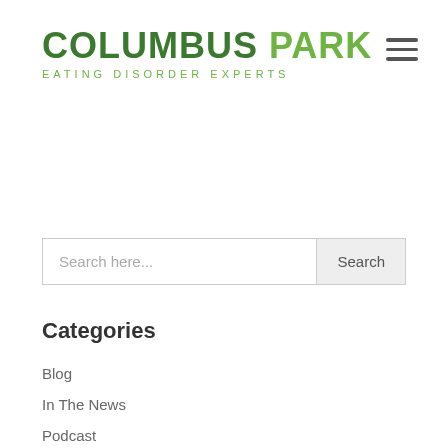COLUMBUS PARK EATING DISORDER EXPERTS
Search here...
Categories
Blog
In The News
Podcast
Videos